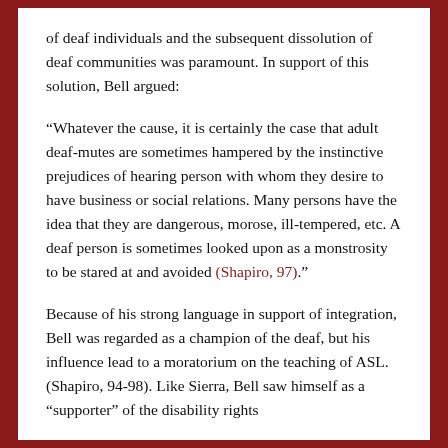of deaf individuals and the subsequent dissolution of deaf communities was paramount. In support of this solution, Bell argued:
“Whatever the cause, it is certainly the case that adult deaf-mutes are sometimes hampered by the instinctive prejudices of hearing person with whom they desire to have business or social relations. Many persons have the idea that they are dangerous, morose, ill-tempered, etc. A deaf person is sometimes looked upon as a monstrosity to be stared at and avoided (Shapiro, 97).”
Because of his strong language in support of integration, Bell was regarded as a champion of the deaf, but his influence lead to a moratorium on the teaching of ASL. (Shapiro, 94-98). Like Sierra, Bell saw himself as a “supporter” of the disability rights